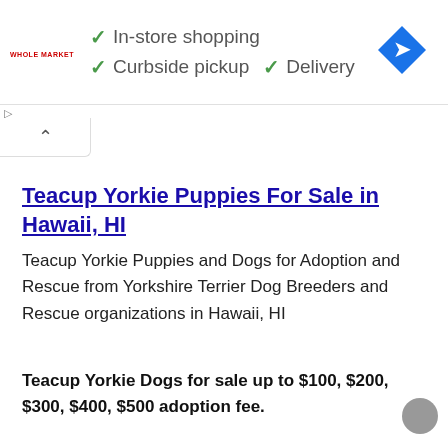[Figure (screenshot): Advertisement banner for Whole Market showing checkmarks for In-store shopping, Curbside pickup, and Delivery with a blue navigation diamond icon on the right]
Teacup Yorkie Puppies For Sale in Hawaii, HI
Teacup Yorkie Puppies and Dogs for Adoption and Rescue from Yorkshire Terrier Dog Breeders and Rescue organizations in Hawaii, HI
Teacup Yorkie Dogs for sale up to $100, $200, $300, $400, $500 adoption fee.